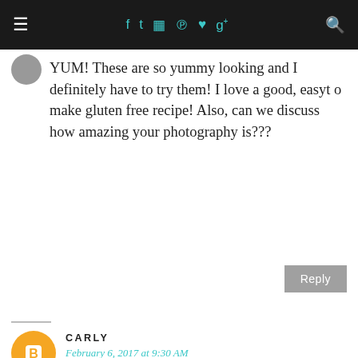≡ f t ☷ ℗ ♥ g+ 🔍
YUM! These are so yummy looking and I definitely have to try them! I love a good, easyt o make gluten free recipe! Also, can we discuss how amazing your photography is???
Reply
CARLY
February 6, 2017 at 9:30 AM
My mom is gluten-free so I always love finding recipes she can try out and these look